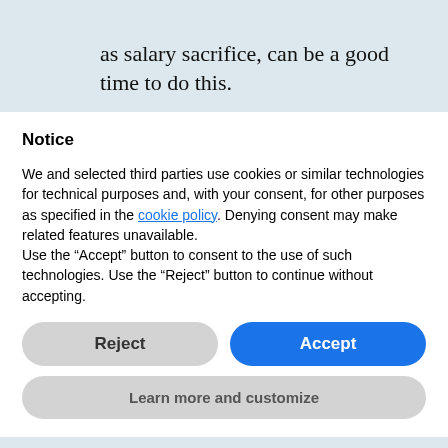as salary sacrifice, can be a good time to do this.
Notice
We and selected third parties use cookies or similar technologies for technical purposes and, with your consent, for other purposes as specified in the cookie policy. Denying consent may make related features unavailable.
Use the “Accept” button to consent to the use of such technologies. Use the “Reject” button to continue without accepting.
Reject
Accept
Learn more and customize
more likely to engage with them.
“Offer specific sessions about those